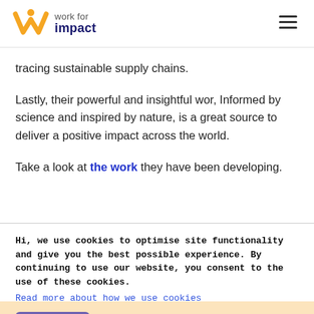work for impact
tracing sustainable supply chains.
Lastly, their powerful and insightful wor, Informed by science and inspired by nature, is a great source to deliver a positive impact across the world.
Take a look at the work they have been developing.
Hi, we use cookies to optimise site functionality and give you the best possible experience. By continuing to use our website, you consent to the use of these cookies.
Read more about how we use cookies
Got it